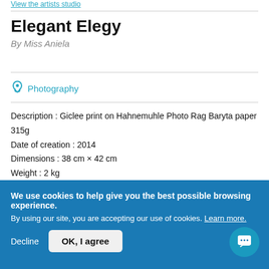View the artists studio
Elegant Elegy
By Miss Aniela
Photography
Description : Giclee print on Hahnemuhle Photo Rag Baryta paper 315g
Date of creation : 2014
Dimensions : 38 cm × 42 cm
Weight : 2 kg
Time required : from 8 to 15 days
Edition of 10 and 2 Artist's Proofs.
We use cookies to help give you the best possible browsing experience.
By using our site, you are accepting our use of cookies. Learn more.
Decline   OK, I agree